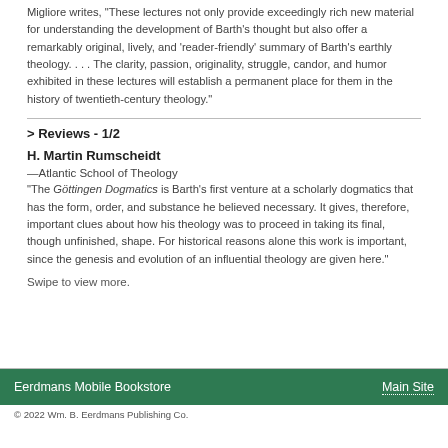Migliore writes, "These lectures not only provide exceedingly rich new material for understanding the development of Barth's thought but also offer a remarkably original, lively, and 'reader-friendly' summary of Barth's earthly theology. . . . The clarity, passion, originality, struggle, candor, and humor exhibited in these lectures will establish a permanent place for them in the history of twentieth-century theology."
> Reviews - 1/2
H. Martin Rumscheidt
—Atlantic School of Theology
"The Göttingen Dogmatics is Barth's first venture at a scholarly dogmatics that has the form, order, and substance he believed necessary. It gives, therefore, important clues about how his theology was to proceed in taking its final, though unfinished, shape. For historical reasons alone this work is important, since the genesis and evolution of an influential theology are given here."
Swipe to view more.
Eerdmans Mobile Bookstore   Main Site   © 2022 Wm. B. Eerdmans Publishing Co.